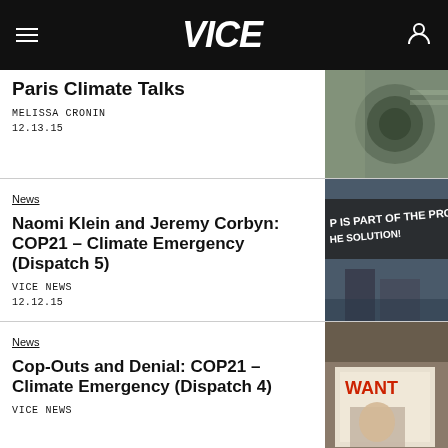VICE
Paris Climate Talks
MELISSA CRONIN
12.13.15
[Figure (photo): Close-up of industrial equipment, gray pipe or duct]
News
Naomi Klein and Jeremy Corbyn: COP21 - Climate Emergency (Dispatch 5)
VICE NEWS
12.12.15
[Figure (photo): Person holding up black protest banner reading 'IS PART OF THE PROBLEM / HE SOLUTION!']
News
Cop-Outs and Denial: COP21 - Climate Emergency (Dispatch 4)
VICE NEWS
[Figure (photo): WANTED poster visible on a surface, partial view]